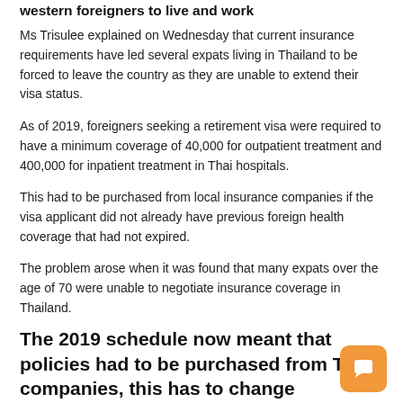western foreigners to live and work
Ms Trisulee explained on Wednesday that current insurance requirements have led several expats living in Thailand to be forced to leave the country as they are unable to extend their visa status.
As of 2019, foreigners seeking a retirement visa were required to have a minimum coverage of 40,000 for outpatient treatment and 400,000 for inpatient treatment in Thai hospitals.
This had to be purchased from local insurance companies if the visa applicant did not already have previous foreign health coverage that had not expired.
The problem arose when it was found that many expats over the age of 70 were unable to negotiate insurance coverage in Thailand.
The 2019 schedule now meant that policies had to be purchased from Thai companies, this has to change